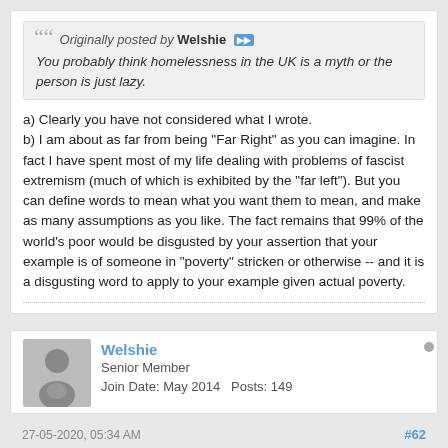Originally posted by Welshie
You probably think homelessness in the UK is a myth or the person is just lazy.
a) Clearly you have not considered what I wrote.
b) I am about as far from being "Far Right" as you can imagine. In fact I have spent most of my life dealing with problems of fascist extremism (much of which is exhibited by the "far left"). But you can define words to mean what you want them to mean, and make as many assumptions as you like. The fact remains that 99% of the world's poor would be disgusted by your assertion that your example is of someone in "poverty" stricken or otherwise -- and it is a disgusting word to apply to your example given actual poverty.
Welshie
Senior Member
Join Date: May 2014   Posts: 149
27-05-2020, 05:34 AM   #62